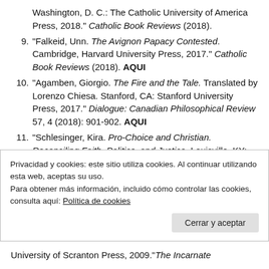Washington, D. C.: The Catholic University of America Press, 2018." Catholic Book Reviews (2018).
9. "Falkeid, Unn. The Avignon Papacy Contested. Cambridge, Harvard University Press, 2017." Catholic Book Reviews (2018). AQUI
10. "Agamben, Giorgio. The Fire and the Tale. Translated by Lorenzo Chiesa. Stanford, CA: Stanford University Press, 2017." Dialogue: Canadian Philosophical Review 57, 4 (2018): 901-902. AQUI
11. "Schlesinger, Kira. Pro-Choice and Christian. Reconciling Faith, Politics, and Justice. Louisville, KY: Westminster John Knox Press, 2017." Catholic Book Reviews (2018).
12. "Gonelle, Dumont, Philippe, and Vassile Courtel
Privacidad y cookies: este sitio utiliza cookies. Al continuar utilizando esta web, aceptas su uso.
Para obtener más información, incluido cómo controlar las cookies, consulta aquí: Política de cookies
Cerrar y aceptar
University of Scranton Press, 2009." The Incarnate